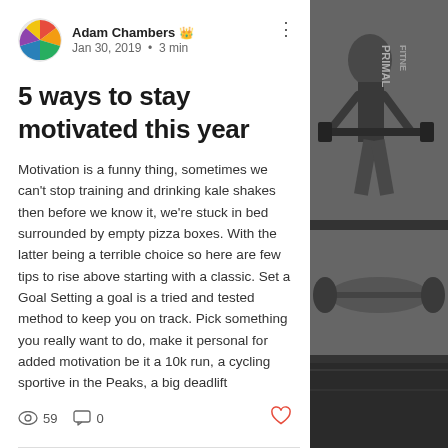Adam Chambers · Jan 30, 2019 · 3 min
5 ways to stay motivated this year
Motivation is a funny thing, sometimes we can't stop training and drinking kale shakes then before we know it, we're stuck in bed surrounded by empty pizza boxes. With the latter being a terrible choice so here are few tips to rise above starting with a classic. Set a Goal Setting a goal is a tried and tested method to keep you on track. Pick something you really want to do, make it personal for added motivation be it a 10k run, a cycling sportive in the Peaks, a big deadlift
[Figure (photo): Black and white photo of a person performing a deadlift at Primal Fitness gym, with logo visible on the wall]